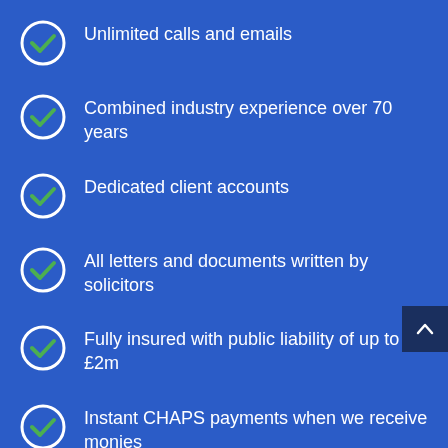Unlimited calls and emails
Combined industry experience over 70 years
Dedicated client accounts
All letters and documents written by solicitors
Fully insured with public liability of up to £2m
Instant CHAPS payments when we receive monies